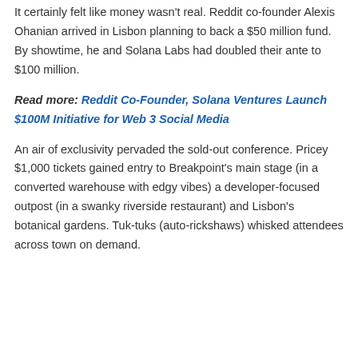It certainly felt like money wasn't real. Reddit co-founder Alexis Ohanian arrived in Lisbon planning to back a $50 million fund. By showtime, he and Solana Labs had doubled their ante to $100 million.
Read more: Reddit Co-Founder, Solana Ventures Launch $100M Initiative for Web 3 Social Media
An air of exclusivity pervaded the sold-out conference. Pricey $1,000 tickets gained entry to Breakpoint's main stage (in a converted warehouse with edgy vibes) a developer-focused outpost (in a swanky riverside restaurant) and Lisbon's botanical gardens. Tuk-tuks (auto-rickshaws) whisked attendees across town on demand.